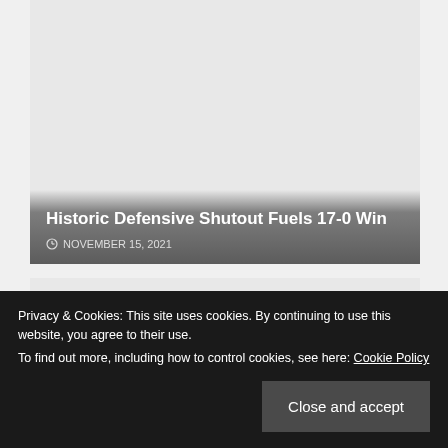[Figure (photo): Article card with gray image placeholder and overlay showing headline and date]
Historic Defensive Shutout Fuels 17-0 Win
NOVEMBER 15, 2021
[Figure (photo): Second article card with gray image placeholder]
Privacy & Cookies: This site uses cookies. By continuing to use this website, you agree to their use.
To find out more, including how to control cookies, see here: Cookie Policy
Close and accept